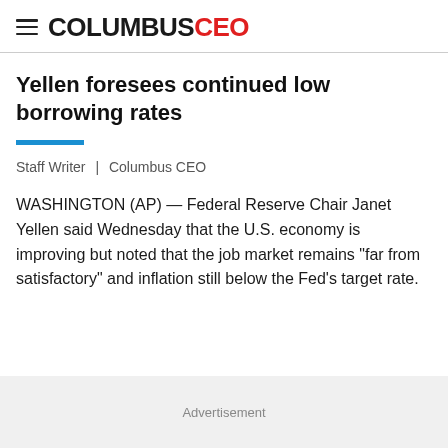COLUMBUSCEO
Yellen foresees continued low borrowing rates
Staff Writer  |  Columbus CEO
WASHINGTON (AP) — Federal Reserve Chair Janet Yellen said Wednesday that the U.S. economy is improving but noted that the job market remains "far from satisfactory" and inflation still below the Fed's target rate.
Advertisement